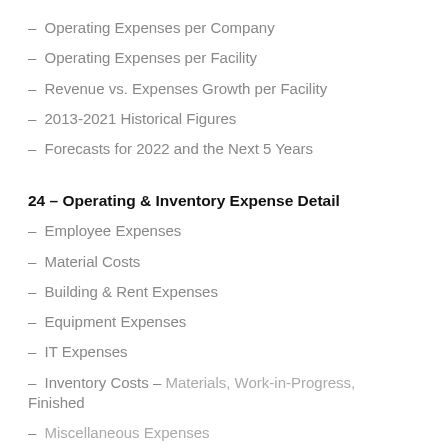– Operating Expenses per Company
– Operating Expenses per Facility
– Revenue vs. Expenses Growth per Facility
– 2013-2021 Historical Figures
– Forecasts for 2022 and the Next 5 Years
24 – Operating & Inventory Expense Detail
– Employee Expenses
– Material Costs
– Building & Rent Expenses
– Equipment Expenses
– IT Expenses
– Inventory Costs – Materials, Work-in-Progress, Finished
– Miscellaneous Expenses
25 – Plant Utilization & Hours